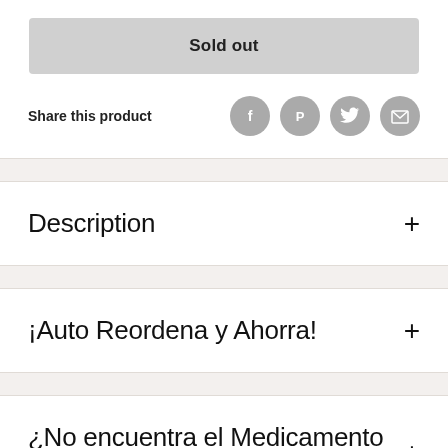Sold out
Share this product
Description
¡Auto Reordena y Ahorra!
¿No encuentra el Medicamento ?